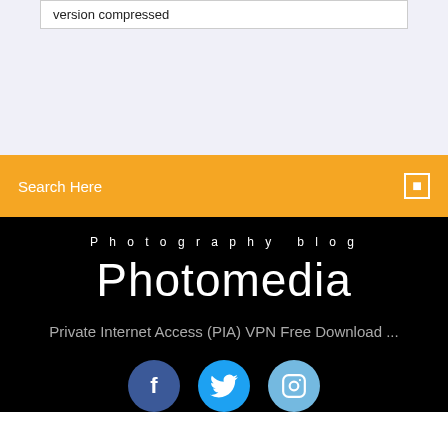version compressed
Search Here
Photography blog
Photomedia
Private Internet Access (PIA) VPN Free Download ...
[Figure (illustration): Social media icons: Facebook (f), Twitter (bird), Instagram (camera) in circular buttons]